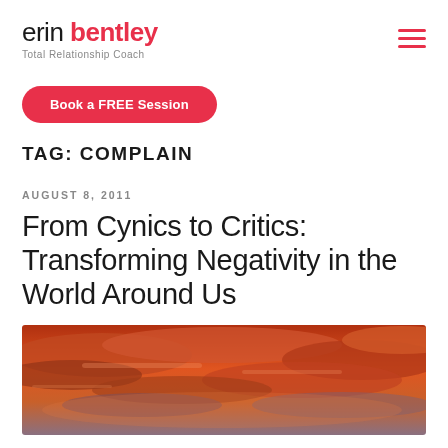erin bentley — Total Relationship Coach
Book a FREE Session
TAG: COMPLAIN
AUGUST 8, 2011
From Cynics to Critics: Transforming Negativity in the World Around Us
[Figure (photo): Dramatic orange and red sunset sky with clouds, viewed from below]